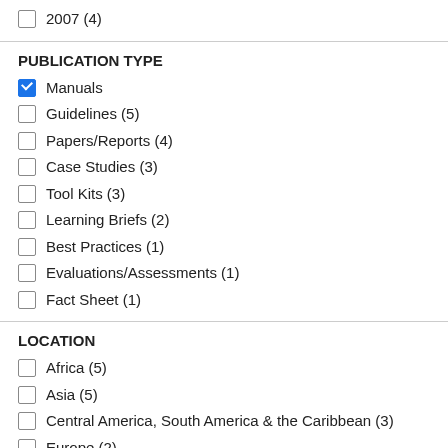2007 (4)
PUBLICATION TYPE
Manuals (checked)
Guidelines (5)
Papers/Reports (4)
Case Studies (3)
Tool Kits (3)
Learning Briefs (2)
Best Practices (1)
Evaluations/Assessments (1)
Fact Sheet (1)
LOCATION
Africa (5)
Asia (5)
Central America, South America & the Caribbean (3)
Europe (2)
Middle East & North Africa (2)
United States (1)